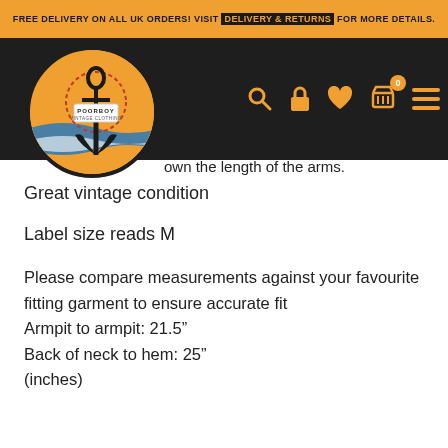FREE DELIVERY ON ALL UK ORDERS! VISIT DELIVERY & RETURNS FOR MORE DETAILS.
[Figure (logo): Poorboy Vintage Clothing circular logo with anchor and nautical design on orange background]
A… down the length of the arms.
Great vintage condition
Label size reads M
Please compare measurements against your favourite fitting garment to ensure accurate fit
Armpit to armpit: 21.5"
Back of neck to hem: 25"
(inches)